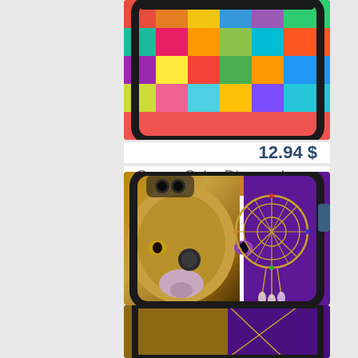[Figure (photo): Phone case with colorful mosaic/space cube diagonal pattern, partially cropped at top]
12.94 $
Space Cube Diagonal Huawei MAte 10 Lite / Nova 2i / Honor 9i case
[Figure (photo): Phone case showing a wolf face combined with a dreamcatcher design on purple background — Huawei MAte 10 Lite phone mock-up]